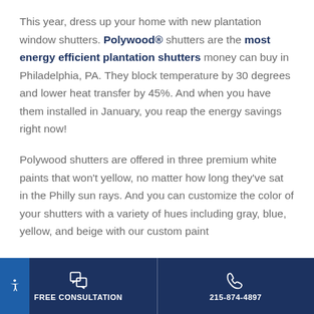This year, dress up your home with new plantation window shutters. Polywood® shutters are the most energy efficient plantation shutters money can buy in Philadelphia, PA. They block temperature by 30 degrees and lower heat transfer by 45%. And when you have them installed in January, you reap the energy savings right now!
Polywood shutters are offered in three premium white paints that won't yellow, no matter how long they've sat in the Philly sun rays. And you can customize the color of your shutters with a variety of hues including gray, blue, yellow, and beige with our custom paint
FREE CONSULTATION | 215-874-4897